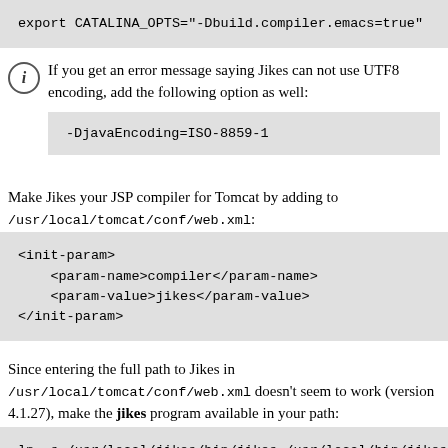export CATALINA_OPTS="-Dbuild.compiler.emacs=true"
If you get an error message saying Jikes can not use UTF8 encoding, add the following option as well:
-DjavaEncoding=ISO-8859-1
Make Jikes your JSP compiler for Tomcat by adding to /usr/local/tomcat/conf/web.xml:
<init-param>
    <param-name>compiler</param-name>
    <param-value>jikes</param-value>
</init-param>
Since entering the full path to Jikes in /usr/local/tomcat/conf/web.xml doesn't seem to work (version 4.1.27), make the jikes program available in your path:
ln -s /usr/local/jikes/bin/jikes /usr/local/bin/jikes